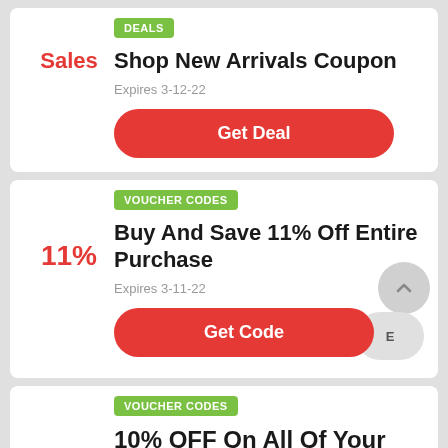DEALS
Shop New Arrivals Coupon
Sales
Expires 3-12-22
Get Deal
VOUCHER CODES
Buy And Save 11% Off Entire Purchase
11%
Expires 3-11-22
Get Code
VOUCHER CODES
10% OFF On All Of Your